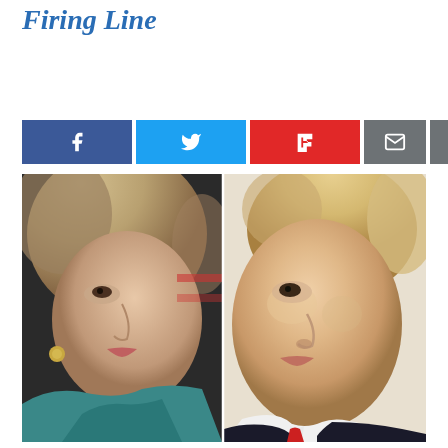Firing Line
[Figure (illustration): Social media sharing buttons: Facebook (blue), Twitter (light blue), Flipboard (red), Email (gray), Print (gray)]
[Figure (photo): Side-by-side close-up photos of Hillary Clinton (left, facing right) and Donald Trump (right, facing left), divided by a vertical line in the center]